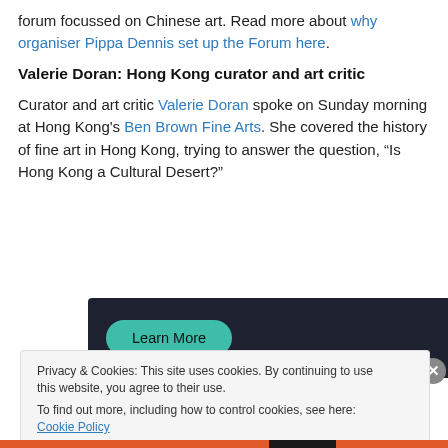forum focussed on Chinese art. Read more about why organiser Pippa Dennis set up the Forum here.
Valerie Doran: Hong Kong curator and art critic
Curator and art critic Valerie Doran spoke on Sunday morning at Hong Kong's Ben Brown Fine Arts. She covered the history of fine art in Hong Kong, trying to answer the question, “Is Hong Kong a Cultural Desert?”
[Figure (screenshot): Dark banner with a teal 'Learn More' button]
Privacy & Cookies: This site uses cookies. By continuing to use this website, you agree to their use. To find out more, including how to control cookies, see here: Cookie Policy
Close and accept